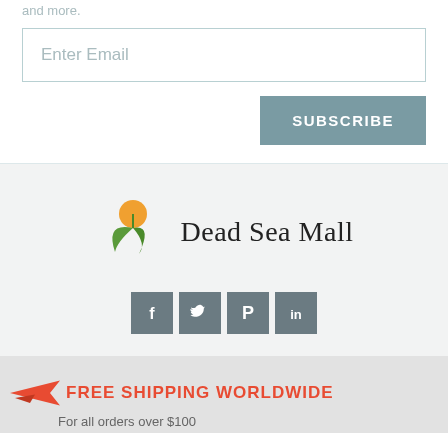and more.
Enter Email
SUBSCRIBE
[Figure (logo): Dead Sea Mall logo with orange fruit and green leaves, beside the text 'Dead Sea Mall' in serif font]
[Figure (infographic): Social media icons: Facebook, Twitter, Pinterest, LinkedIn — all in grey square backgrounds]
FREE SHIPPING WORLDWIDE
For all orders over $100